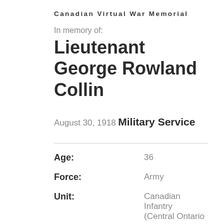Canadian Virtual War Memorial
In memory of:
Lieutenant George Rowland Collin
August 30, 1918
Military Service
| Field | Value |
| --- | --- |
| Age: | 36 |
| Force: | Army |
| Unit: | Canadian Infantry (Central Ontario |